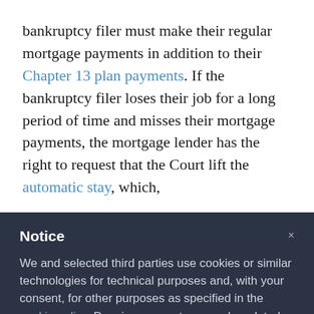bankruptcy filer must make their regular mortgage payments in addition to their Chapter 13 plan payments. If the bankruptcy filer loses their job for a long period of time and misses their mortgage payments, the mortgage lender has the right to request that the Court lift the automatic stay, which,
Notice
We and selected third parties use cookies or similar technologies for technical purposes and, with your consent, for other purposes as specified in the cookie policy. Denying consent may make related features unavailable.
You can consent to the use of such technologies by closing this notice, by scrolling this page, by interacting with any link or button outside of this notice or by continuing to browse otherwise.